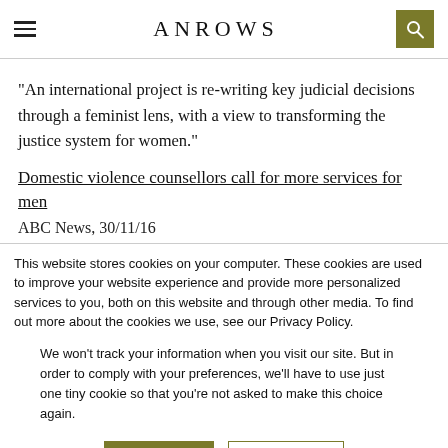ANROWS
“An international project is re-writing key judicial decisions through a feminist lens, with a view to transforming the justice system for women.”
Domestic violence counsellors call for more services for men
ABC News, 30/11/16
This website stores cookies on your computer. These cookies are used to improve your website experience and provide more personalized services to you, both on this website and through other media. To find out more about the cookies we use, see our Privacy Policy.
We won’t track your information when you visit our site. But in order to comply with your preferences, we’ll have to use just one tiny cookie so that you’re not asked to make this choice again.
Accept
Decline